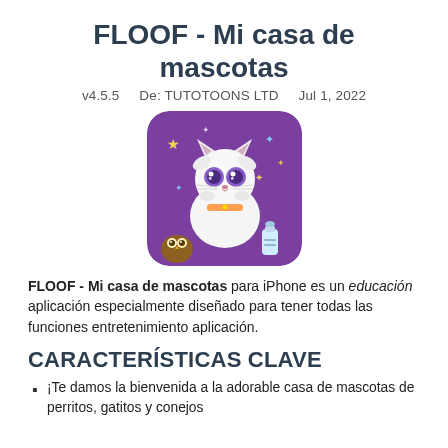FLOOF - Mi casa de mascotas
v4.5.5    De: TUTOTOONS LTD    Jul 1, 2022
[Figure (illustration): App icon for FLOOF - Mi casa de mascotas showing a cute fluffy white cartoon kitten with big purple eyes, a baby bottle, a small owl, and colorful stars on a purple background.]
FLOOF - Mi casa de mascotas para iPhone es un educación aplicación especialmente diseñado para tener todas las funciones entretenimiento aplicación.
CARACTERÍSTICAS CLAVE
¡Te damos la bienvenida a la adorable casa de mascotas de perritos, gatitos y conejos